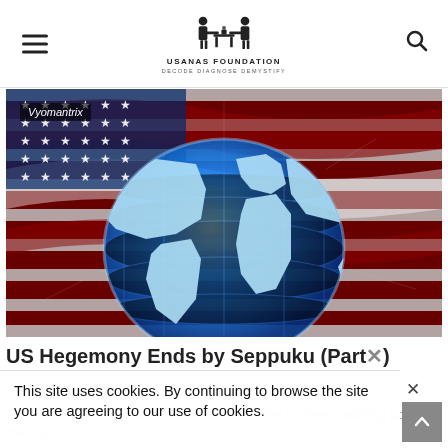USANAS FOUNDATION — DECODE DIAGNOSE DEMYSTIFY
[Figure (illustration): Globe with world map overlay on top of an American flag (red, white, blue stripes and stars) background. 'Vyomantrix' text label in upper left corner.]
US Hegemony Ends by Seppuku (Part )
This site uses cookies. By continuing to browse the site you are agreeing to our use of cookies.
The following commentary reflects in how China is slowly catching up to the USA.